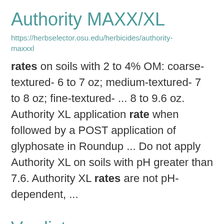Authority MAXX/XL
https://herbselector.osu.edu/herbicides/authority-maxxxl
rates on soils with 2 to 4% OM: coarse-textured- 6 to 7 oz; medium-textured- 7 to 8 oz; fine-textured- ... 8 to 9.6 oz. Authority XL application rate when followed by a POST application of glyphosate in Roundup ... Do not apply Authority XL on soils with pH greater than 7.6. Authority XL rates are not pH-dependent, ...
Verdict
https://herbselector.osu.edu/herbicides/verdict
15 oz; fine- 16 to 18 oz. Rates for seed